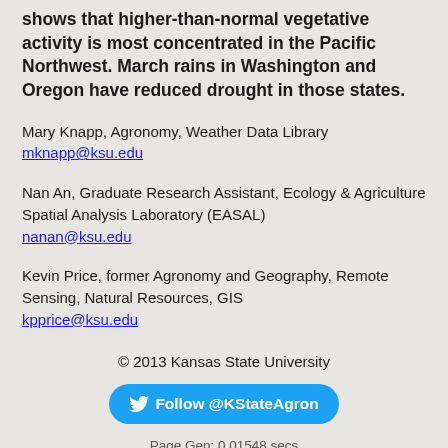shows that higher-than-normal vegetative activity is most concentrated in the Pacific Northwest. March rains in Washington and Oregon have reduced drought in those states.
Mary Knapp, Agronomy, Weather Data Library
mknapp@ksu.edu
Nan An, Graduate Research Assistant, Ecology & Agriculture Spatial Analysis Laboratory (EASAL)
nanan@ksu.edu
Kevin Price, former Agronomy and Geography, Remote Sensing, Natural Resources, GIS
kpprice@ksu.edu
© 2013 Kansas State University
Follow @KStateAgron
Page Gen: 0.01548 secs